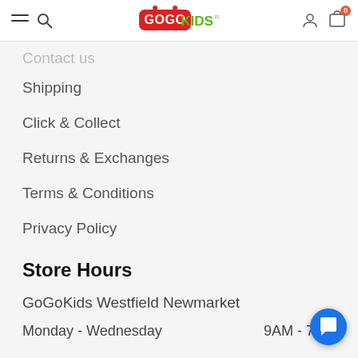GoGoKids
Contact us
Shipping
Click & Collect
Returns & Exchanges
Terms & Conditions
Privacy Policy
Store Hours
GoGoKids Westfield Newmarket
Monday - Wednesday  9AM - 7PM
Thursday - Friday  9AM -
Saturday  9AM - 7PM